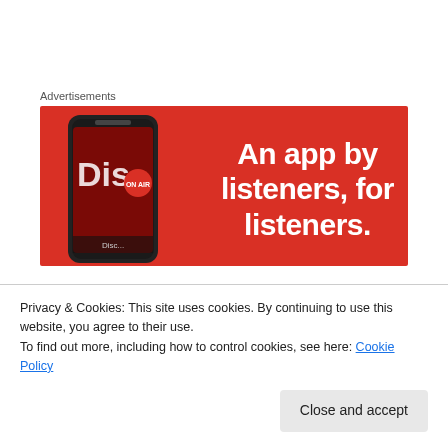Advertisements
[Figure (illustration): Red advertisement banner for a music app with text 'An app by listeners, for listeners.' and an image of a smartphone.]
The LSO's Half Six Fix at the Barbican is a superb initiative. An hour of music from the next day's concert with onstage introductions and synchronised programme notes
Privacy & Cookies: This site uses cookies. By continuing to use this website, you agree to their use.
To find out more, including how to control cookies, see here: Cookie Policy
Close and accept